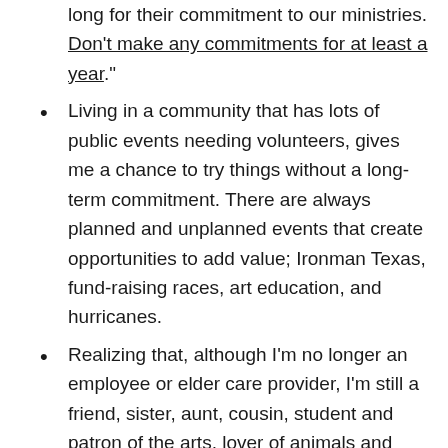long for their commitment to our ministries. Don't make any commitments for at least a year."
Living in a community that has lots of public events needing volunteers, gives me a chance to try things without a long-term commitment. There are always planned and unplanned events that create opportunities to add value; Ironman Texas, fund-raising races, art education, and hurricanes.
Realizing that, although I'm no longer an employee or elder care provider, I'm still a friend, sister, aunt, cousin, student and patron of the arts, lover of animals and travel, and dabbler at new things.
Learning in the world of volunteerism, that I am no longer the woman working in a man's